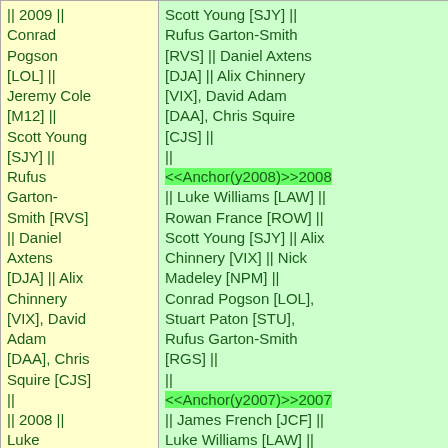| || 2009 || Conrad Pogson [LOL] || Jeremy Cole [M12] || Scott Young [SJY] || Rufus Garton-Smith [RVS] || Daniel Axtens [DJA] || Alix Chinnery [VIX], David Adam [DAA], Chris Squire [CJS] || || 2008 || Luke Williams [LAW] || Rowan F... | Scott Young [SJY] || Rufus Garton-Smith [RVS] || Daniel Axtens [DJA] || Alix Chinnery [VIX], David Adam [DAA], Chris Squire [CJS] || || <<Anchor(y2008)>>2008 || Luke Williams [LAW] || Rowan France [ROW] || Scott Young [SJY] || Alix Chinnery [VIX] || Nick Madeley [NPM] || Conrad Pogson [LOL], Stuart Paton [STU], Rufus Garton-Smith [RGS] || || <<Anchor(y2007)>>2007 || James French [JCF] || Luke Williams [LAW] || Sam Cochran [SJC] || Davyd Madeley [PXY] || Conrad Pogson [LOL] || David Adam [DAA], Jeff... |